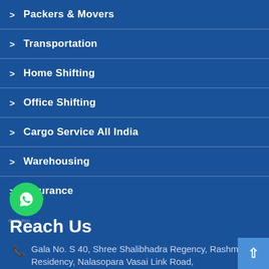> Packers & Movers
> Transportation
> Home Shifting
> Office Shifting
> Cargo Service All India
> Warehousing
> Insurance
Reach Us
Gala No. S 40, Shree Shalibhadra Regency, Rashmi Residency, Nalasopara Vasai Link Road,